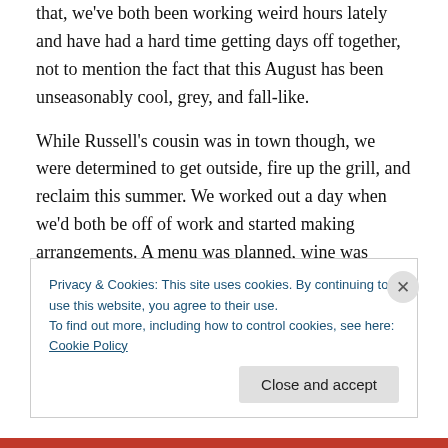that, we've both been working weird hours lately and have had a hard time getting days off together, not to mention the fact that this August has been unseasonably cool, grey, and fall-like.
While Russell's cousin was in town though, we were determined to get outside, fire up the grill, and reclaim this summer. We worked out a day when we'd both be off of work and started making arrangements. A menu was planned, wine was bought, and a trip taken to the farmers market for ingredients.
Privacy & Cookies: This site uses cookies. By continuing to use this website, you agree to their use. To find out more, including how to control cookies, see here: Cookie Policy
Close and accept